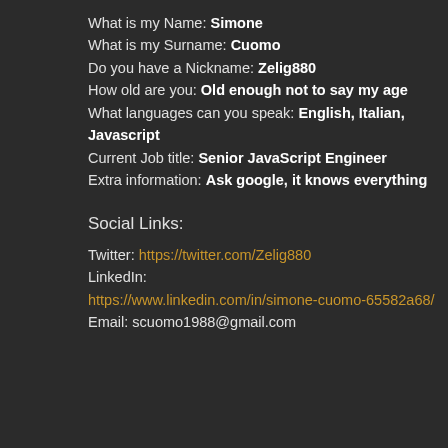What is my Name: Simone
What is my Surname: Cuomo
Do you have a Nickname: Zelig880
How old are you: Old enough not to say my age
What languages can you speak: English, Italian, Javascript
Current Job title: Senior JavaScript Engineer
Extra information: Ask google, it knows everything
Social Links:
Twitter: https://twitter.com/Zelig880
LinkedIn: https://www.linkedin.com/in/simone-cuomo-65582a68/
Email: scuomo1988@gmail.com